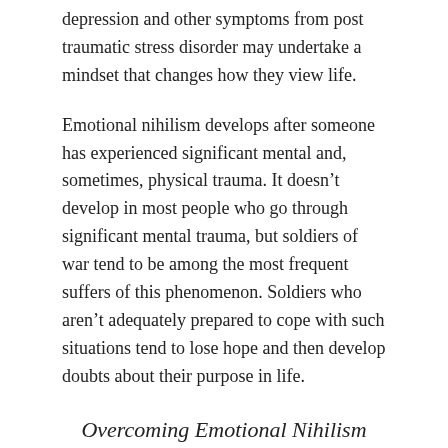depression and other symptoms from post traumatic stress disorder may undertake a mindset that changes how they view life.
Emotional nihilism develops after someone has experienced significant mental and, sometimes, physical trauma. It doesn’t develop in most people who go through significant mental trauma, but soldiers of war tend to be among the most frequent suffers of this phenomenon. Soldiers who aren’t adequately prepared to cope with such situations tend to lose hope and then develop doubts about their purpose in life.
Overcoming Emotional Nihilism
It’s possible for people to overcome a nihilistic mindset, especially if they developed the mindset as a result of war. A nihilistic state of mind may be damaging to people who